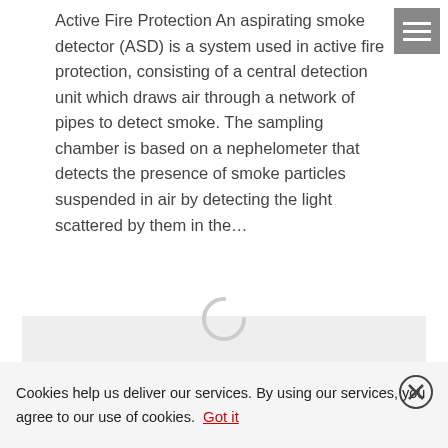Active Fire Protection An aspirating smoke detector (ASD) is a system used in active fire protection, consisting of a central detection unit which draws air through a network of pipes to detect smoke. The sampling chamber is based on a nephelometer that detects the presence of smoke particles suspended in air by detecting the light scattered by them in the...
[Figure (other): Gray loading area with a partial spinner/loading circle visible at the bottom center]
Cookies help us deliver our services. By using our services, you agree to our use of cookies. Got it